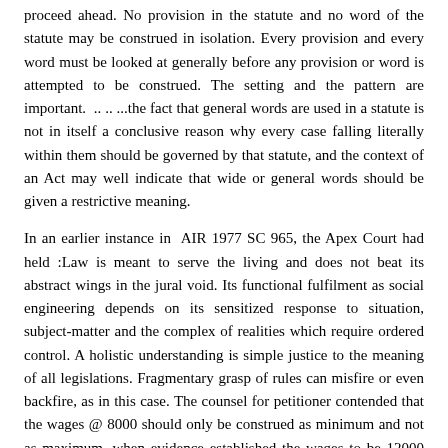proceed ahead. No provision in the statute and no word of the statute may be construed in isolation. Every provision and every word must be looked at generally before any provision or word is attempted to be construed. The setting and the pattern are important.  .. .. ...the fact that general words are used in a statute is not in itself a conclusive reason why every case falling literally within them should be governed by that statute, and the context of an Act may well indicate that wide or general words should be given a restrictive meaning.
In an earlier instance in  AIR 1977 SC 965, the Apex Court had held :Law is meant to serve the living and does not beat its abstract wings in the jural void. Its functional fulfilment as social engineering depends on its sensitized response to situation, subject-matter and the complex of realities which require ordered control. A holistic understanding is simple justice to the meaning of all legislations. Fragmentary grasp of rules can misfire or even backfire, as in this case. The counsel for petitioner contended that the wages @ 8000 should only be construed as minimum and not as maximum, when evidence established the wages to be 12000 p.m.
The Honble Court concluded that -  it is not in dispute that the workman died while he was in the employment.  It is the specific